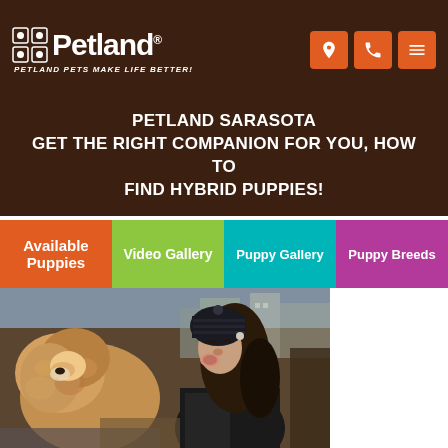Petland — PETLAND PETS MAKE LIFE BETTER!
PETLAND SARASOTA GET THE RIGHT COMPANION FOR YOU, HOW TO FIND HYBRID PUPPIES!
Available Puppies
Video Gallery
Puppy Gallery
Puppy Breeds
[Figure (photo): Woman kissing a fluffy golden/caramel dog outdoors in an urban setting, both wearing dark winter clothing, bokeh background of buildings]